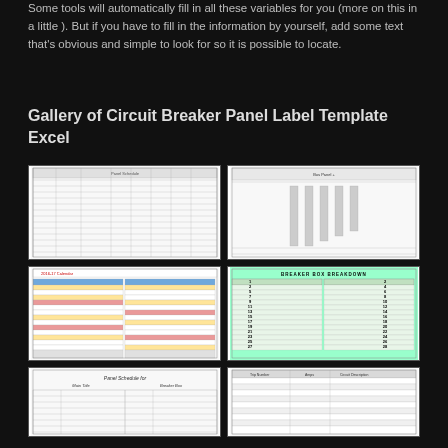Some tools will automatically fill in all these variables for you (more on this in a little ). But if you have to fill in the information by yourself, add some text that's obvious and simple to look for so it is possible to locate.
Gallery of Circuit Breaker Panel Label Template Excel
[Figure (table-as-image): Thumbnail of a circuit breaker panel schedule spreadsheet with rows and columns]
[Figure (table-as-image): Thumbnail of a breaker panel form with vertical bar columns]
[Figure (table-as-image): Thumbnail of a 2016-17 calendar spreadsheet with colored cells]
[Figure (table-as-image): Thumbnail of a Breaker Box Breakdown form with numbered rows on green background]
[Figure (table-as-image): Thumbnail of a Panel Schedule form (partially visible)]
[Figure (table-as-image): Thumbnail of a panel schedule table (partially visible)]